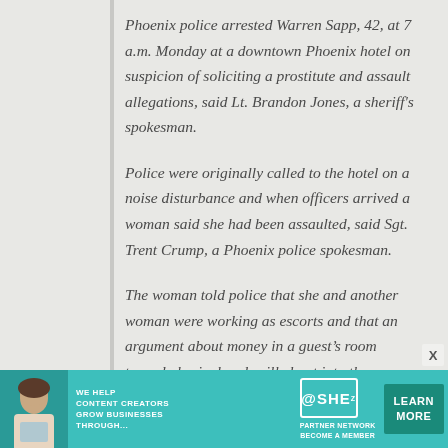Phoenix police arrested Warren Sapp, 42, at 7 a.m. Monday at a downtown Phoenix hotel on suspicion of soliciting a prostitute and assault allegations, said Lt. Brandon Jones, a sheriff's spokesman.
Police were originally called to the hotel on a noise disturbance and when officers arrived a woman said she had been assaulted, said Sgt. Trent Crump, a Phoenix police spokesman.
The woman told police that she and another woman were working as escorts and that an argument about money in a guest's room turned physical and spilled out into the hallway.
[Figure (infographic): Advertisement banner for SHE Media Partner Network: 'We Help Content Creators Grow Businesses Through...' with a Learn More button]